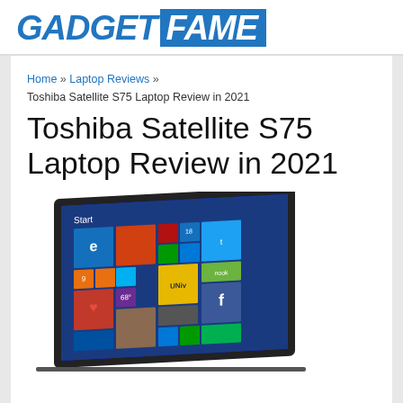GADGET FAME
Home » Laptop Reviews »
Toshiba Satellite S75 Laptop Review in 2021
Toshiba Satellite S75 Laptop Review in 2021
[Figure (photo): Photo of Toshiba Satellite S75 laptop showing Windows 8 Start screen with colorful tiles including IE, Twitter, Nook, Facebook, and other app tiles, viewed at a slight angle.]